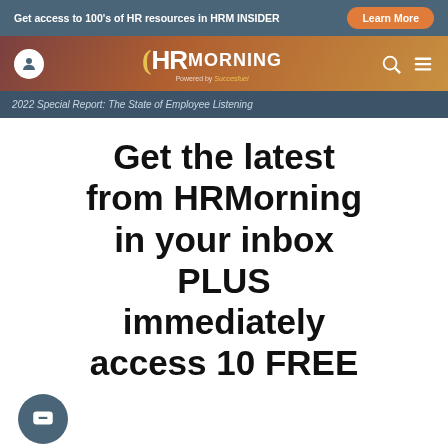Get access to 100's of HR resources in HRM INSIDER
[Figure (logo): HRMorning logo with orange arc bracket, powered by Successfuel text]
2022 Special Report: The State of Employee Listening
Get the latest from HRMorning in your inbox PLUS immediately access 10 FREE